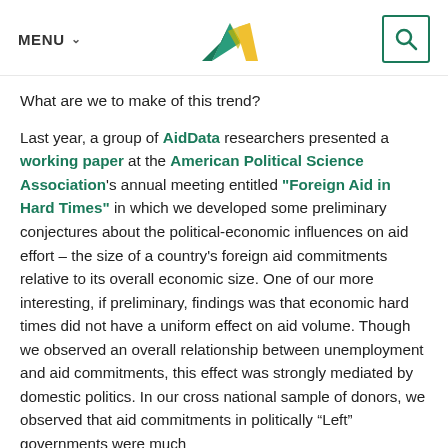MENU [logo] [search]
What are we to make of this trend?
Last year, a group of AidData researchers presented a working paper at the American Political Science Association's annual meeting entitled "Foreign Aid in Hard Times" in which we developed some preliminary conjectures about the political-economic influences on aid effort – the size of a country's foreign aid commitments relative to its overall economic size. One of our more interesting, if preliminary, findings was that economic hard times did not have a uniform effect on aid volume. Though we observed an overall relationship between unemployment and aid commitments, this effect was strongly mediated by domestic politics. In our cross national sample of donors, we observed that aid commitments in politically "Left" governments were much